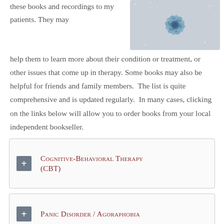these books and recordings to my patients. They may help them to learn more about their condition or treatment, or other issues that come up in therapy. Some books may also be helpful for friends and family members.  The list is quite comprehensive and is updated regularly.  In many cases, clicking on the links below will allow you to order books from your local independent bookseller.
[Figure (photo): A blue paper flower on a silver glitter background]
Cognitive-Behavioral Therapy (CBT)
Panic Disorder / Agoraphobia